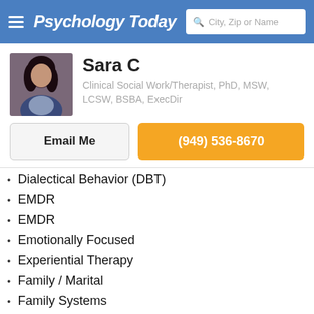Psychology Today | City, Zip or Name
Sara C
Clinical Social Work/Therapist, PhD, MSW, LCSW, BSBA, ExecDir
Email Me
(949) 536-8670
Dialectical Behavior (DBT)
EMDR
EMDR
Emotionally Focused
Experiential Therapy
Family / Marital
Family Systems
Gestalt
Hypnotherapy
Integrative
Internal Family Systems (IFS)
Interpersonal